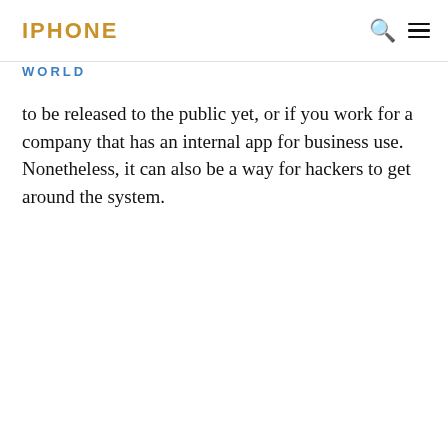IPHONE
WORLD
to be released to the public yet, or if you work for a company that has an internal app for business use. Nonetheless, it can also be a way for hackers to get around the system.